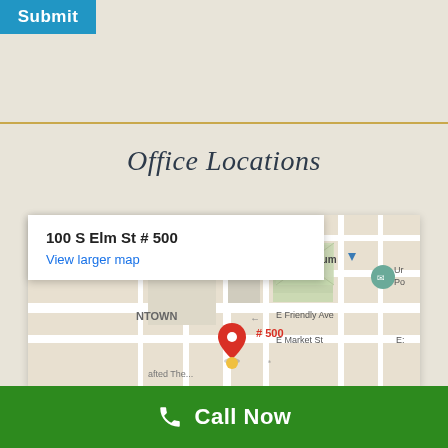[Figure (screenshot): Submit button (blue) at top left corner of page]
Office Locations
[Figure (map): Google Maps screenshot showing location at 100 S Elm St # 500 with red pin marker, showing streets including E Friendly Ave, E Market St, Museum area]
100 S Elm St # 500
View larger map
Call Now